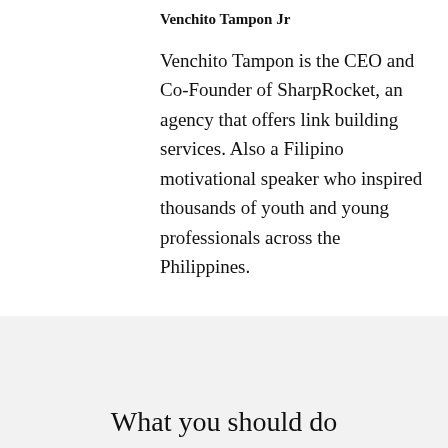Venchito Tampon Jr
Venchito Tampon is the CEO and Co-Founder of SharpRocket, an agency that offers link building services. Also a Filipino motivational speaker who inspired thousands of youth and young professionals across the Philippines.
[Figure (other): Social media icons: Facebook (f), Twitter (bird/v shape), Vimeo (v)]
What you should do